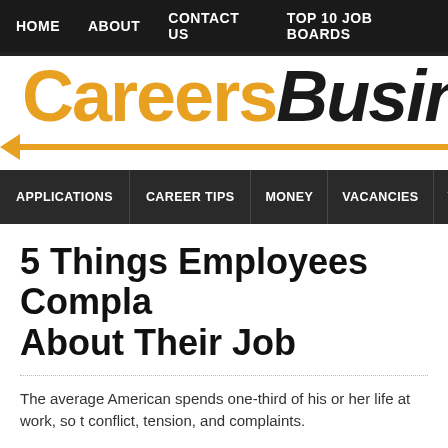HOME   ABOUT   CONTACT US   TOP 10 JOB BOARDS
[Figure (logo): CareersBusin logo with orange Careers text, bold italic black Busin text, horizontal lines and orange arrow pointing left]
APPLICATIONS   CAREER TIPS   MONEY   VACANCIES   VIDEOS
5 Things Employees Complain About Their Job
The average American spends one-third of his or her life at work, so t conflict, tension, and complaints.